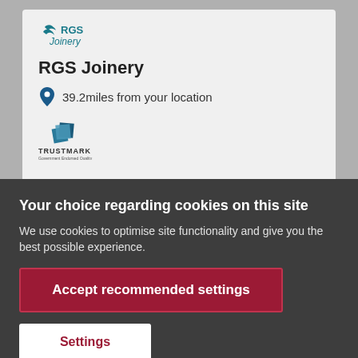[Figure (logo): RGS Joinery logo with stylized leaf/wave icon in teal]
RGS Joinery
39.2miles from your location
[Figure (logo): TrustMark - Government Endorsed Quality logo]
Your choice regarding cookies on this site
We use cookies to optimise site functionality and give you the best possible experience.
Accept recommended settings
Settings